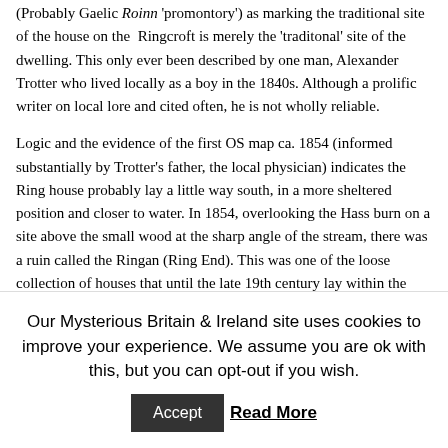(Probably Gaelic Roinn 'promontory') as marking the traditional site of the house on the Ringcroft is merely the 'traditonal' site of the dwelling. This only ever been described by one man, Alexander Trotter who lived locally as a boy in the 1840s. Although a prolific writer on local lore and cited often, he is not wholly reliable.
Logic and the evidence of the first OS map ca. 1854 (informed substantially by Trotter's father, the local physician) indicates the Ring house probably lay a little way south, in a more sheltered position and closer to water. In 1854, overlooking the Hass burn on a site above the small wood at the sharp angle of the stream, there was a ruin called the Ringan (Ring End). This was one of the loose collection of houses that until the late 19th century lay within the former '20 shillng lands of Stocking,' which stretched from the ridge-top down to the road running round the head of
Our Mysterious Britain & Ireland site uses cookies to improve your experience. We assume you are ok with this, but you can opt-out if you wish. Accept Read More